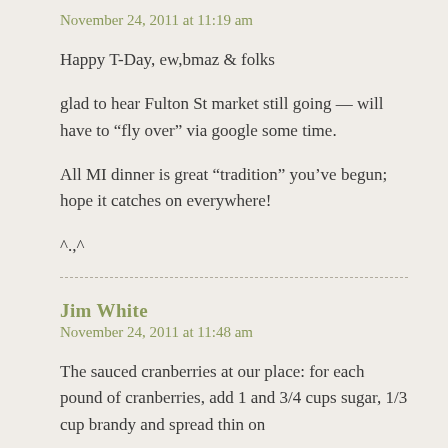November 24, 2011 at 11:19 am
Happy T-Day, ew,bmaz & folks
glad to hear Fulton St market still going — will have to “fly over” via google some time.
All MI dinner is great “tradition” you’ve begun; hope it catches on everywhere!
^.,^
Jim White
November 24, 2011 at 11:48 am
The sauced cranberries at our place: for each pound of cranberries, add 1 and 3/4 cups sugar, 1/3 cup brandy and spread thin on